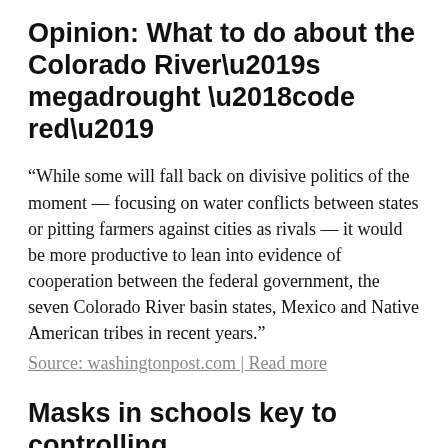Opinion: What to do about the Colorado River’s megadrought ‘code red’
“While some will fall back on divisive politics of the moment — focusing on water conflicts between states or pitting farmers against cities as rivals — it would be more productive to lean into evidence of cooperation between the federal government, the seven Colorado River basin states, Mexico and Native American tribes in recent years.”
Source: washingtonpost.com | Read more
Masks in schools key to controlling